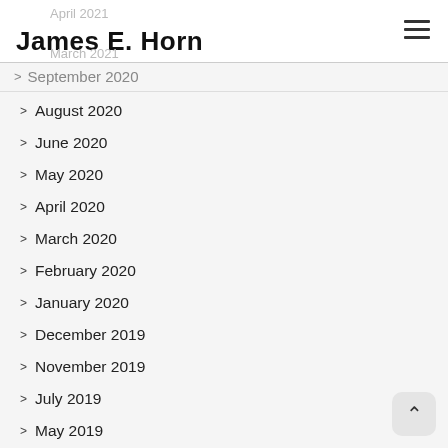James E. Horn
September 2020
August 2020
June 2020
May 2020
April 2020
March 2020
February 2020
January 2020
December 2019
November 2019
July 2019
May 2019
March 2019
January 2019
December 2018